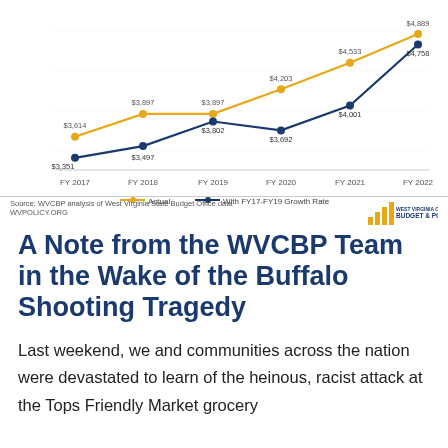[Figure (line-chart): WV Per Pupil Spending]
Source: WVCBP analysis of West Virginia State Budget Office data
WVPOLICY.ORG
A Note from the WVCBP Team in the Wake of the Buffalo Shooting Tragedy
Last weekend, we and communities across the nation were devastated to learn of the heinous, racist attack at the Tops Friendly Market grocery